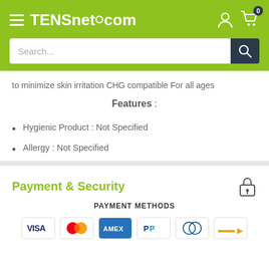TENSnet.com
to minimize skin irritation CHG compatible For all ages
Features :
Hygienic Product : Not Specified
Allergy : Not Specified
Payment & Security
PAYMENT METHODS
[Figure (other): Payment method icons: VISA, Mastercard, AMEX, PayPal, Diners Club, and one more card]